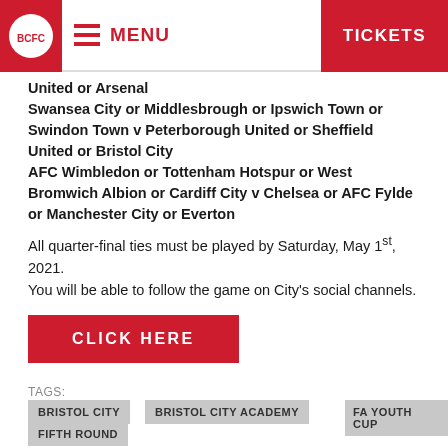MENU | TICKETS
United or Arsenal
Swansea City or Middlesbrough or Ipswich Town or Swindon Town v Peterborough United or Sheffield United or Bristol City
AFC Wimbledon or Tottenham Hotspur or West Bromwich Albion or Cardiff City v Chelsea or AFC Fylde or Manchester City or Everton
All quarter-final ties must be played by Saturday, May 1st, 2021.
You will be able to follow the game on City's social channels.
CLICK HERE
TAGS:
BRISTOL CITY
BRISTOL CITY ACADEMY
FA YOUTH CUP
FIFTH ROUND